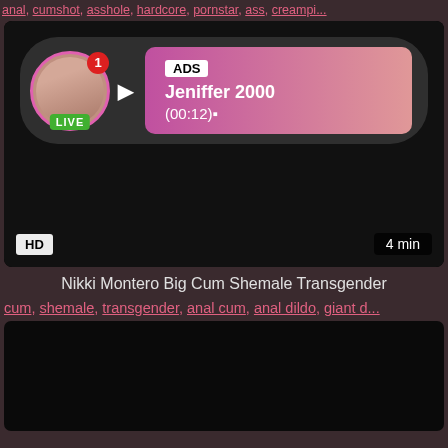anal, cumshot, asshole, hardcore, pornstar, ass, creampi...
[Figure (screenshot): Video thumbnail card showing a dark background with an ad overlay. The overlay contains a profile photo in a pink-bordered circle with a LIVE badge, a red notification badge with '1', and a gradient pink box showing 'ADS', 'Jeniffer 2000', '(00:12)'. Bottom left shows 'HD' badge, bottom right shows '4 min'.]
Nikki Montero Big Cum Shemale Transgender
cum, shemale, transgender, anal cum, anal dildo, giant d...
[Figure (screenshot): Second video thumbnail, dark/black background, partially visible.]